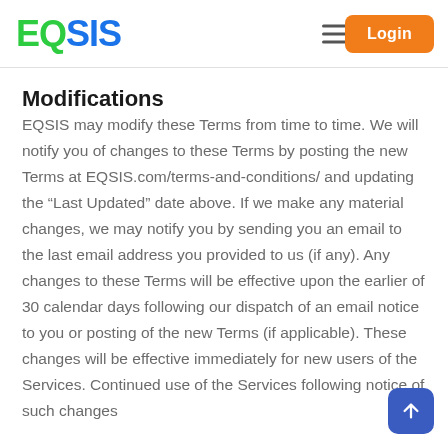EQSIS  ≡  Login
Modifications
EQSIS may modify these Terms from time to time. We will notify you of changes to these Terms by posting the new Terms at EQSIS.com/terms-and-conditions/ and updating the "Last Updated" date above. If we make any material changes, we may notify you by sending you an email to the last email address you provided to us (if any). Any changes to these Terms will be effective upon the earlier of 30 calendar days following our dispatch of an email notice to you or posting of the new Terms (if applicable). These changes will be effective immediately for new users of the Services. Continued use of the Services following notice of such changes